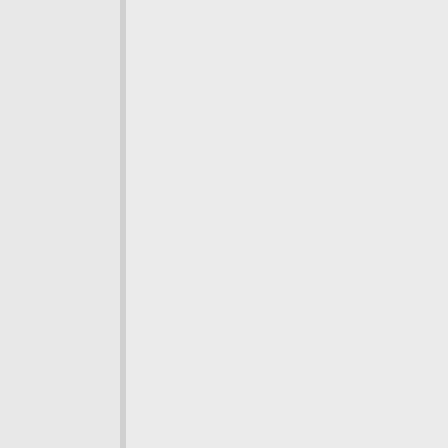'Agents were the decisive factor – when surveillance, armed response and co-ordination were added – that forced PIRA to capitulate (pg.11)'

Much has been written on this and today is often applied to the UK. The author argues well that leadership and strategy, that harnessed subversion and violence to accompany and support each other, aim was to make Nationalist areas therefore ungovernable.

The criminalization policy, and "Ulsterisation", led to the use of criminal justice system and military actions in criminal courts to public scrutiny (pg. 157). Behind scenes become public documents as senior Security Service a

There are chunks of the book controversial, the "shoot" fades out as peace appr early even today to place public domain?